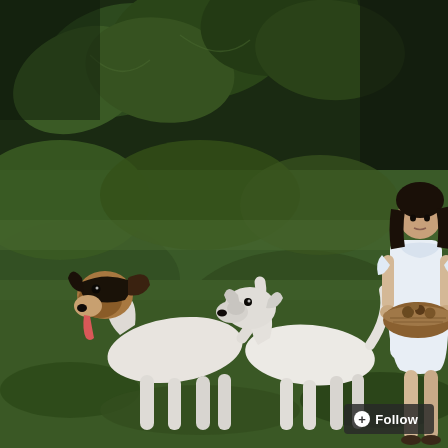[Figure (photo): Outdoor garden scene: two white dogs (Jack Russell terriers, one with brown/black markings) playing and sniffing each other on green grass. A young girl in a white dress stands to the right, holding a wicker basket. Lush green foliage and a large fig tree with broad leaves forms the background. A 'Follow' button overlay appears in the bottom-right corner.]